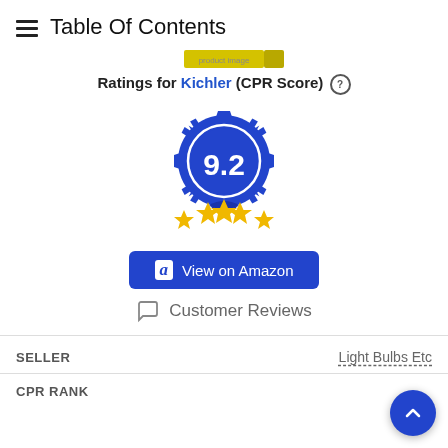Table Of Contents
[Figure (other): Yellow product image bar/strip at top center of content area]
Ratings for Kichler (CPR Score) ⓘ
[Figure (infographic): Blue award badge/medal with score 9.2 in white text, with three yellow stars below and blue ribbon]
[Figure (other): Blue button labeled 'a View on Amazon']
Customer Reviews
| SELLER |  |
| --- | --- |
| SELLER | Light Bulbs Etc |
CPR RANK